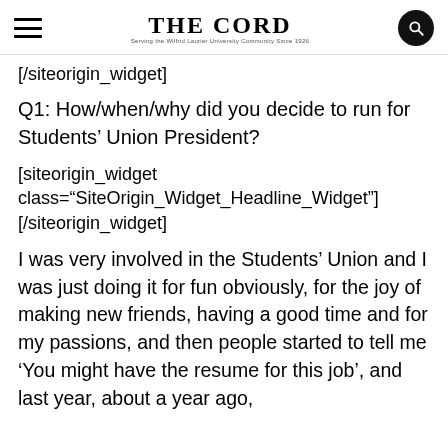THE CORD
[/siteorigin_widget]
Q1: How/when/why did you decide to run for Students' Union President?
[siteorigin_widget class="SiteOrigin_Widget_Headline_Widget"] [/siteorigin_widget]
I was very involved in the Students' Union and I was just doing it for fun obviously, for the joy of making new friends, having a good time and for my passions, and then people started to tell me ‘You might have the resume for this job’, and last year, about a year ago,